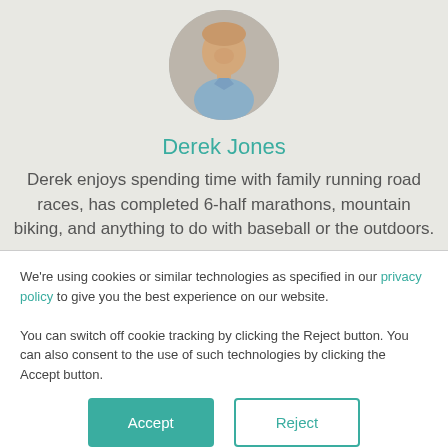[Figure (photo): Circular profile photo of a smiling man in a light blue shirt against a brick background]
Derek Jones
Derek enjoys spending time with family running road races, has completed 6-half marathons, mountain biking, and anything to do with baseball or the outdoors.
We're using cookies or similar technologies as specified in our privacy policy to give you the best experience on our website.

You can switch off cookie tracking by clicking the Reject button. You can also consent to the use of such technologies by clicking the Accept button.